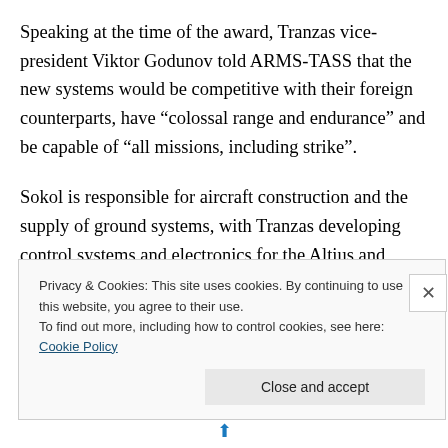Speaking at the time of the award, Tranzas vice-president Viktor Godunov told ARMS-TASS that the new systems would be competitive with their foreign counterparts, have “colossal range and endurance” and be capable of “all missions, including strike”.
Sokol is responsible for aircraft construction and the supply of ground systems, with Tranzas developing control systems and electronics for the Altius and Inokhodyets. Both should make their flight debuts during 2014, and
Privacy & Cookies: This site uses cookies. By continuing to use this website, you agree to their use.
To find out more, including how to control cookies, see here: Cookie Policy
Close and accept